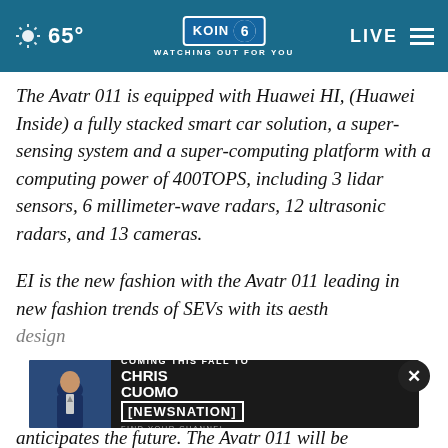KOIN 6 CBS — WATCHING OUT FOR YOU | 65° | LIVE
The Avatr 011 is equipped with Huawei HI, (Huawei Inside) a fully stacked smart car solution, a super-sensing system and a super-computing platform with a computing power of 400TOPS, including 3 lidar sensors, 6 millimeter-wave radars, 12 ultrasonic radars, and 13 cameras.
EI is the new fashion with the Avatr 011 leading in new fashion trends of SEVs with its aesthetic design anticipates the future. The Avatr 011 will be
[Figure (screenshot): Advertisement banner: Chris Cuomo Coming This Fall to NewsNation — Find Your Channel, with close button (×)]